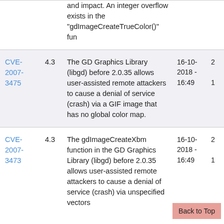| CVE | Score | Description | Date |  |
| --- | --- | --- | --- | --- |
|  |  | and impact. An integer overflow exists in the "gdImageCreateTrueColor()" fun |  |  |
| CVE-2007-3475 | 4.3 | The GD Graphics Library (libgd) before 2.0.35 allows user-assisted remote attackers to cause a denial of service (crash) via a GIF image that has no global color map. | 16-10-2018 - 16:49 | 2 |
| CVE-2007-3473 | 4.3 | The gdImageCreateXbm function in the GD Graphics Library (libgd) before 2.0.35 allows user-assisted remote attackers to cause a denial of service (crash) via unspecified vectors | 16-10-2018 - 16:49 | 2 |